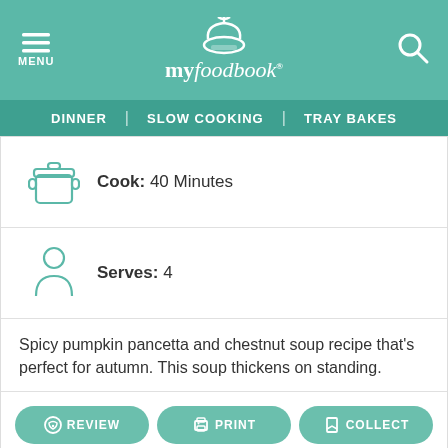[Figure (logo): myfoodbook logo with mortar and pestle icon on teal background, with hamburger menu icon on left and search icon on right]
DINNER | SLOW COOKING | TRAY BAKES
Cook:  40 Minutes
Serves:  4
Spicy pumpkin pancetta and chestnut soup recipe that's perfect for autumn. This soup thickens on standing.
REVIEW  PRINT  COLLECT
SHARE  PIN